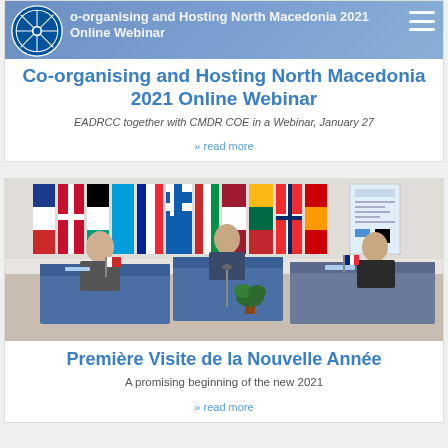[Figure (photo): NATO/CMDR COE logo in top left of header area, hamburger menu icon top right]
Co-organising and Hosting North Macedonia 2021 Online Webinar
EADRCC together with CMDR COE in a Webinar, January 27
» read more
[Figure (photo): Three officials seated at blue-draped tables in a room with NATO and other national flags in the background, socially distanced seating arrangement]
Première Visite de la Nouvelle Année
A promising beginning of the new 2021
» read more